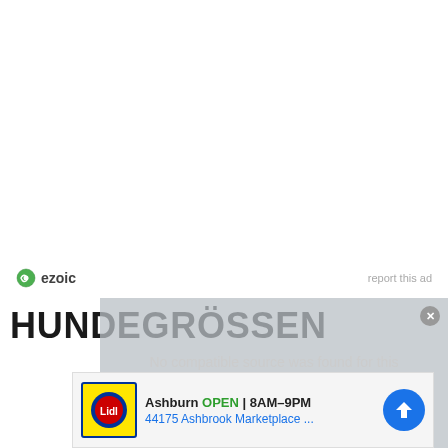[Figure (logo): Ezoic logo with circular green icon and bold dark text 'ezoic']
report this ad
HUNDEGRÖSSEN
[Figure (other): Video player overlay showing 'No compatible source was found for this media.' message on grey background with close button]
[Figure (other): Advertisement banner: Ashburn OPEN 8AM-9PM, 44175 Ashbrook Marketplace ... with Lidl logo and blue navigation arrow icon]